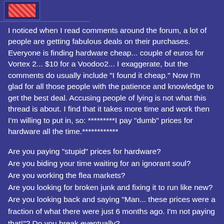[Forum logo/avatar image]
I noticed when I read comments around the forum, a lot of people are getting fabulous deals on their purchases. Everyone is finding hardware cheap... couple of euros for Vortex 2... $10 for a Voodoo2... I exaggerate, but the comments do usually include "I found it cheap." Now I'm glad for all those people with the patience and knowledge to get the best deal. Accusing people of lying is not what this thread is about. I find that it takes more time and work then I'm willing to put in, so: *********I pay "dumb" prices for hardware all the time.************
Are you paying "stupid" prices for hardware?
Are you biding your time waiting for an ignorant soul?
Are you working the flea markets?
Are you looking for broken junk and fixing it to run like new?
Are you looking back and saying "Man... these prices were a fraction of what there were just 6 months ago. I'm not paying that!"? Do you break eventually?